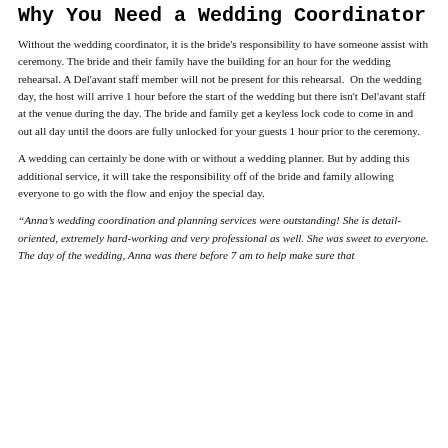Why You Need a Wedding Coordinator
Without the wedding coordinator, it is the bride's responsibility to have someone assist with ceremony. The bride and their family have the building for an hour for the wedding rehearsal. A Del'avant staff member will not be present for this rehearsal.  On the wedding day, the host will arrive 1 hour before the start of the wedding but there isn't Del'avant staff at the venue during the day. The bride and family get a keyless lock code to come in and out all day until the doors are fully unlocked for your guests 1 hour prior to the ceremony.
A wedding can certainly be done with or without a wedding planner. But by adding this additional service, it will take the responsibility off of the bride and family allowing everyone to go with the flow and enjoy the special day.
“Anna’s wedding coordination and planning services were outstanding! She is detail-oriented, extremely hard-working and very professional as well. She was sweet to everyone. The day of the wedding, Anna was there before 7 am to help make sure that